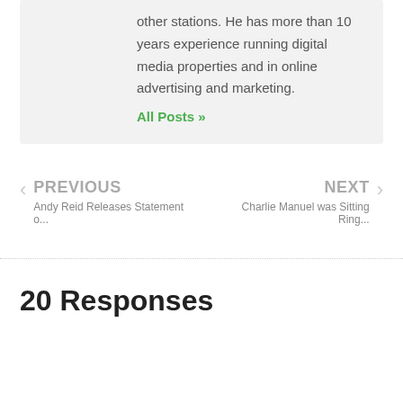other stations. He has more than 10 years experience running digital media properties and in online advertising and marketing.
All Posts »
◄ PREVIOUS
Andy Reid Releases Statement o...
NEXT ►
Charlie Manuel was Sitting Ring...
20 Responses